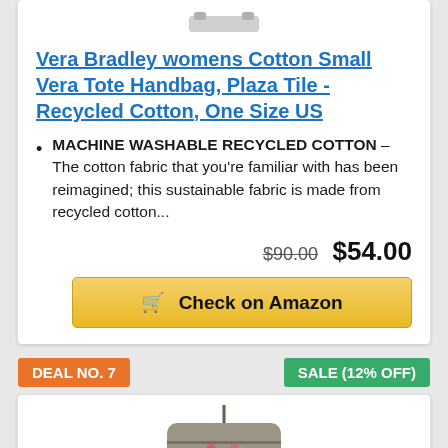Vera Bradley womens Cotton Small Vera Tote Handbag, Plaza Tile - Recycled Cotton, One Size US
MACHINE WASHABLE RECYCLED COTTON – The cotton fabric that you're familiar with has been reimagined; this sustainable fabric is made from recycled cotton...
$90.00  $54.00
Check on Amazon
DEAL NO. 7
SALE (12% OFF)
[Figure (photo): Floral patterned crossbody handbag with gray background and colorful flower print]